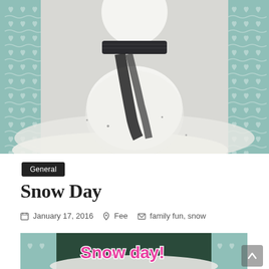[Figure (photo): Snowman with a dark patterned scarf around its neck, photographed from the torso up. Teal/mint decorative heart and wave pattern borders on left and right sides.]
General
Snow Day
January 17, 2016  Fee  family fun, snow
[Figure (photo): Bottom partial image showing a snow scene with 'Snow day!' text in large pink letters with white outline, teal heart pattern borders on sides.]